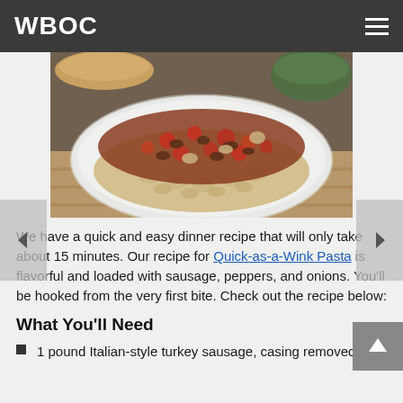WBOC
[Figure (photo): A white oval dish filled with pasta (rotini/fusilli) topped with a chunky meat sauce containing ground turkey sausage, tomatoes, mushrooms, and peppers. The dish is set on a woven mat with bread and a green bowl visible in the background.]
We have a quick and easy dinner recipe that will only take about 15 minutes. Our recipe for Quick-as-a-Wink Pasta is flavorful and loaded with sausage, peppers, and onions. You’ll be hooked from the very first bite. Check out the recipe below:
What You’ll Need
1 pound Italian-style turkey sausage, casing removed